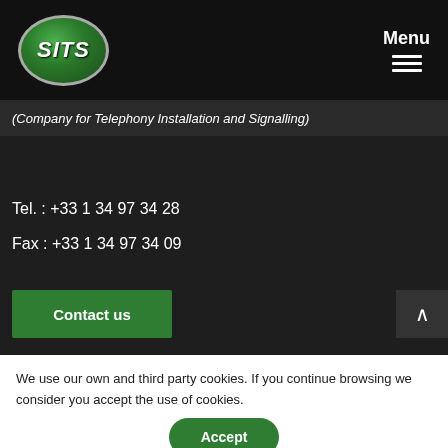[Figure (logo): SITS logo - green oval with white italic text 'SITS' and silver border]
Menu
(Company for Telephony Installation and Signalling)
Tel. : +33 1 34 97 34 28
Fax : +33 1 34 97 34 09
Contact us
We use our own and third party cookies. If you continue browsing we consider you accept the use of cookies.
Accept